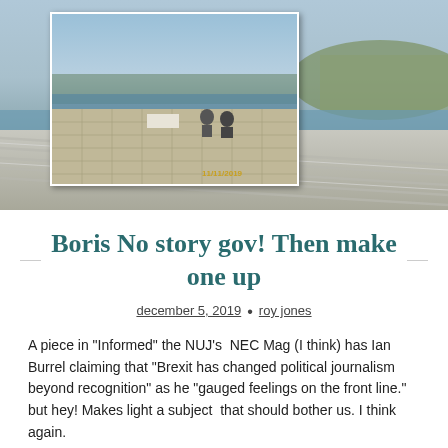[Figure (photo): Two overlapping outdoor photographs: a smaller inset photo showing two people sitting on a tiled rooftop terrace overlooking water, dated 11/11/2019; and a larger background photo showing a coastal rooftop scene with water and hills in the background.]
Boris No story gov! Then make one up
december 5, 2019 • roy jones
A piece in “Informed” the NUJ’s  NEC Mag (I think) has Ian Burrel claiming that “Brexit has changed political journalism beyond recognition” as he “gauged feelings on the front line.” but hey! Makes light a subject  that should bother us. I think again.